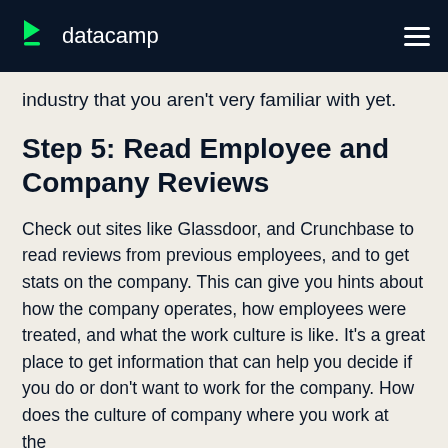datacamp
industry that you aren't very familiar with yet.
Step 5: Read Employee and Company Reviews
Check out sites like Glassdoor, and Crunchbase to read reviews from previous employees, and to get stats on the company. This can give you hints about how the company operates, how employees were treated, and what the work culture is like. It's a great place to get information that can help you decide if you do or don't want to work for the company. How does the culture of company where you work at the...